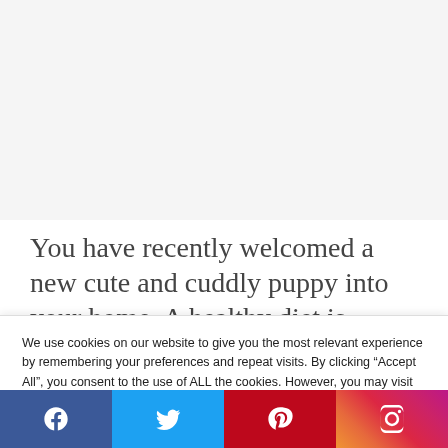[Figure (photo): White/light gray image area placeholder at top of page]
You have recently welcomed a new cute and cuddly puppy into your home. A healthy diet is
We use cookies on our website to give you the most relevant experience by remembering your preferences and repeat visits. By clicking “Accept All”, you consent to the use of ALL the cookies. However, you may visit "Cookie Settings" to provide a controlled consent.
Cookie Settings | Accept All
[Figure (other): Social share bar with Facebook, Twitter, Pinterest, and Instagram icons]